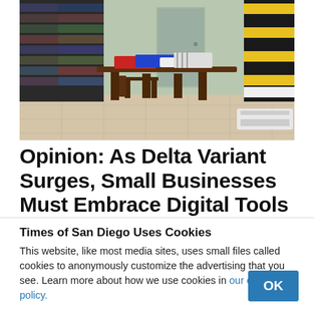[Figure (photo): Interior of a merchandise store with t-shirts and hats displayed on walls, wooden table in the center with folded jerseys on top, tile floor, light-colored walls.]
Opinion: As Delta Variant Surges, Small Businesses Must Embrace Digital Tools
Times of San Diego Uses Cookies
This website, like most media sites, uses small files called cookies to anonymously customize the advertising that you see. Learn more about how we use cookies in our cookie policy.